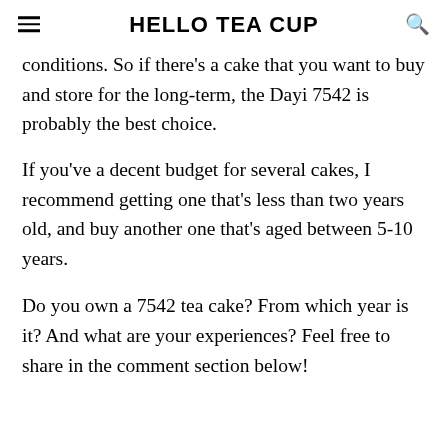HELLO TEA CUP
conditions. So if there's a cake that you want to buy and store for the long-term, the Dayi 7542 is probably the best choice.
If you've a decent budget for several cakes, I recommend getting one that's less than two years old, and buy another one that's aged between 5-10 years.
Do you own a 7542 tea cake? From which year is it? And what are your experiences? Feel free to share in the comment section below!